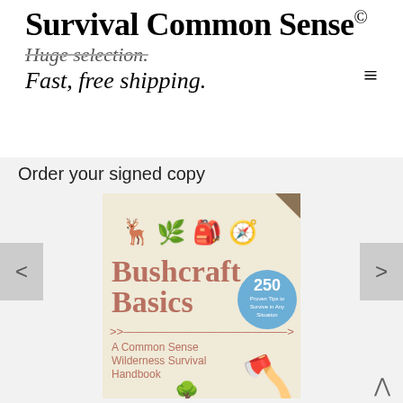Survival Common Sense©
Huge selection.
Fast, free shipping.
Order your signed copy
[Figure (photo): Book cover of 'Bushcraft Basics: A Common Sense Wilderness Survival Handbook' with icons of a deer, plant, backpack, compass, and an axe illustration. Badge reads '250 Proven Tips to Survive in Any Situation'.]